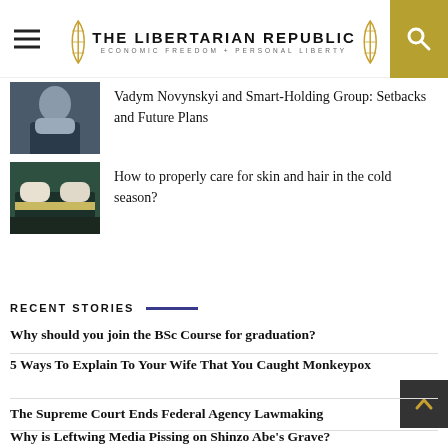THE LIBERTARIAN REPUBLIC — ECONOMIC FREEDOM + PERSONAL LIBERTY
Vadym Novynskyi and Smart-Holding Group: Setbacks and Future Plans
How to properly care for skin and hair in the cold season?
RECENT STORIES
Why should you join the BSc Course for graduation?
5 Ways To Explain To Your Wife That You Caught Monkeypox
The Supreme Court Ends Federal Agency Lawmaking
Why is Leftwing Media Pissing on Shinzo Abe's Grave?